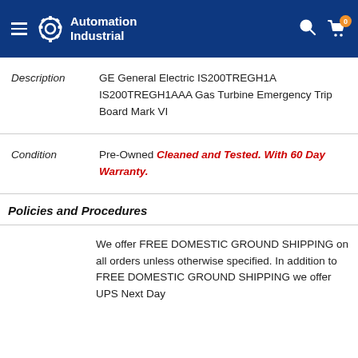Automation Industrial
Description: GE General Electric IS200TREGH1A IS200TREGH1AAA Gas Turbine Emergency Trip Board Mark VI
Condition: Pre-Owned Cleaned and Tested. With 60 Day Warranty.
Policies and Procedures
We offer FREE DOMESTIC GROUND SHIPPING on all orders unless otherwise specified. In addition to FREE DOMESTIC GROUND SHIPPING we offer UPS Next Day